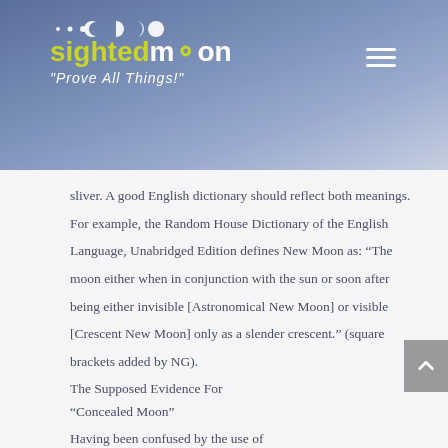sightedmoon — "Prove All Things!"
sliver. A good English dictionary should reflect both meanings. For example, the Random House Dictionary of the English Language, Unabridged Edition defines New Moon as: “The moon either when in conjunction with the sun or soon after being either invisible [Astronomical New Moon] or visible [Crescent New Moon] only as a slender crescent.” (square brackets added by NG).
The Supposed Evidence For “Concealed Moon”
Having been confused by the use of